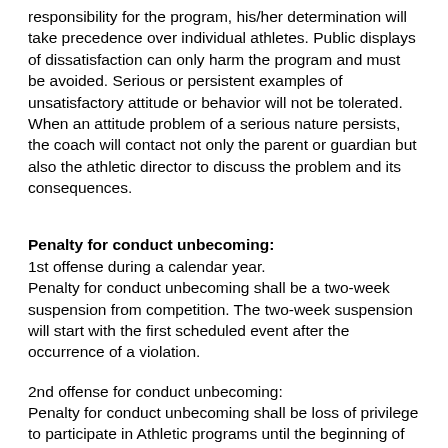responsibility for the program, his/her determination will take precedence over individual athletes. Public displays of dissatisfaction can only harm the program and must be avoided. Serious or persistent examples of unsatisfactory attitude or behavior will not be tolerated. When an attitude problem of a serious nature persists, the coach will contact not only the parent or guardian but also the athletic director to discuss the problem and its consequences.
Penalty for conduct unbecoming:
1st offense during a calendar year.
Penalty for conduct unbecoming shall be a two-week suspension from competition. The two-week suspension will start with the first scheduled event after the occurrence of a violation.
2nd offense for conduct unbecoming:
Penalty for conduct unbecoming shall be loss of privilege to participate in Athletic programs until the beginning of